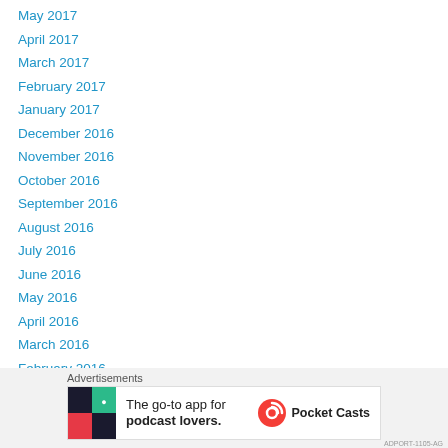May 2017
April 2017
March 2017
February 2017
January 2017
December 2016
November 2016
October 2016
September 2016
August 2016
July 2016
June 2016
May 2016
April 2016
March 2016
February 2016
Advertisements
[Figure (other): Pocket Casts advertisement banner - The go-to app for podcast lovers.]